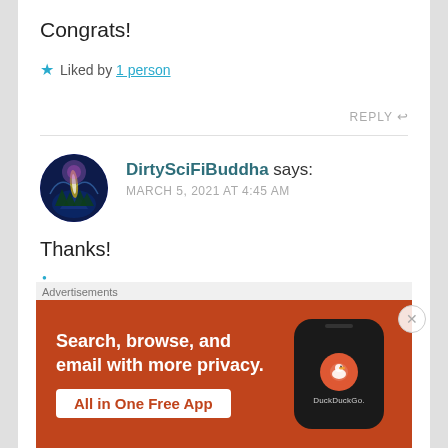Congrats!
★ Liked by 1 person
REPLY ↩
DirtySciFiBuddha says:
MARCH 5, 2021 AT 4:45 AM
Thanks!
Advertisements
[Figure (screenshot): DuckDuckGo advertisement banner on orange-red background with text 'Search, browse, and email with more privacy. All in One Free App' and a phone image with DuckDuckGo logo]